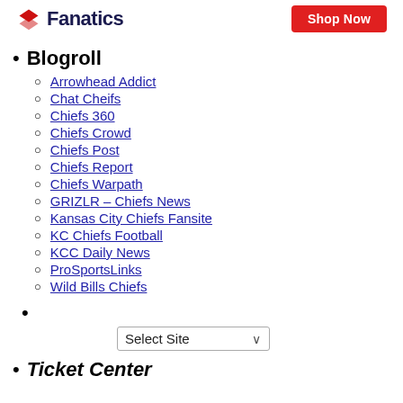[Figure (logo): Fanatics logo with red chevron/arrow mark and bold dark text 'Fanatics', plus a red 'Shop Now' button on the right]
Blogroll (header bullet)
Arrowhead Addict
Chat Cheifs
Chiefs 360
Chiefs Crowd
Chiefs Post
Chiefs Report
Chiefs Warpath
GRIZLR – Chiefs News
Kansas City Chiefs Fansite
KC Chiefs Football
KCC Daily News
ProSportsLinks
Wild Bills Chiefs
(empty bullet with Select Site dropdown)
Ticket Center (partial, italic bold)